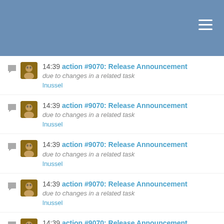14:39 action #9070: Release Announcement
due to changes in a related task
lnussel
14:39 action #9070: Release Announcement
due to changes in a related task
lnussel
14:39 action #9070: Release Announcement
due to changes in a related task
lnussel
14:39 action #9070: Release Announcement
due to changes in a related task
lnussel
14:39 action #9070: Release Announcement
due to changes in a related task
lnussel
14:39 action #9070: Release Announcement